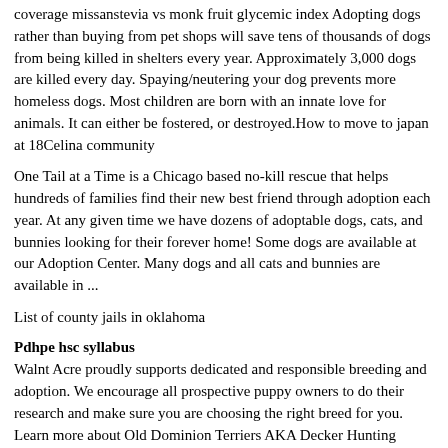coverage missanstevia vs monk fruit glycemic index Adopting dogs rather than buying from pet shops will save tens of thousands of dogs from being killed in shelters every year. Approximately 3,000 dogs are killed every day. Spaying/neutering your dog prevents more homeless dogs. Most children are born with an innate love for animals. It can either be fostered, or destroyed.How to move to japan at 18Celina community
One Tail at a Time is a Chicago based no-kill rescue that helps hundreds of families find their new best friend through adoption each year. At any given time we have dozens of adoptable dogs, cats, and bunnies looking for their forever home! Some dogs are available at our Adoption Center. Many dogs and all cats and bunnies are available in ...
List of county jails in oklahoma
Pdhpe hsc syllabus
Walnt Acre proudly supports dedicated and responsible breeding and adoption. We encourage all prospective puppy owners to do their research and make sure you are choosing the right breed for you. Learn more about Old Dominion Terriers AKA Decker Hunting Terriers. Ready to adopt your own big, bold, and beautiful Old Dominion Terrier? Select an ...
Townhomes in greenwood